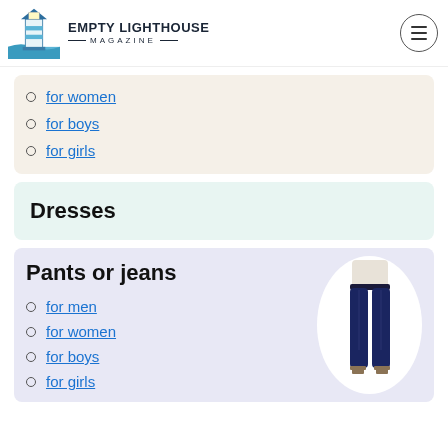Empty Lighthouse Magazine
for women
for boys
for girls
Dresses
Pants or jeans
for men
for women
for boys
for girls
[Figure (photo): Woman wearing dark navy skinny jeans and a white top, shown from waist down]